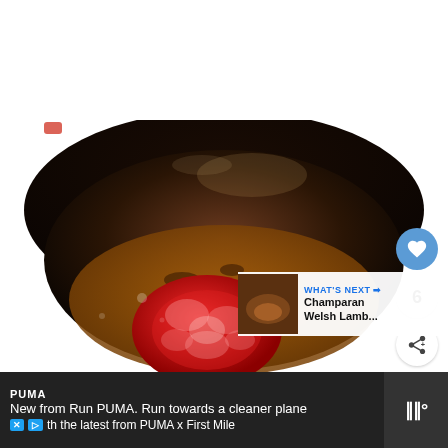[Figure (photo): Close-up photo of a sliced tomato cooking in a dark cast iron pan with bubbling brown sauce/gravy around it]
WHAT'S NEXT → Champaran Welsh Lamb...
PUMA
New from Run PUMA. Run towards a cleaner plane th the latest from PUMA x First Mile